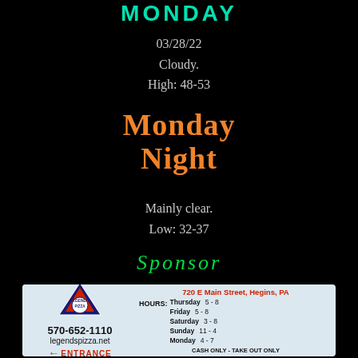MONDAY
03/28/22
Cloudy.
High: 48-53
Monday Night
Mainly clear.
Low: 32-37
Sponsor
[Figure (photo): Legend's Pizza sponsor advertisement card showing logo, phone number 570-652-1110, website legendspizza.net, address 720 E Main Street, Hegins PA, hours Thursday 5-8, Friday 5-8, Saturday 3-8, Sunday 11-4, Monday 4-7, Cash Only Take Out Only, Tax Included Curbside Available, and entrance arrow.]